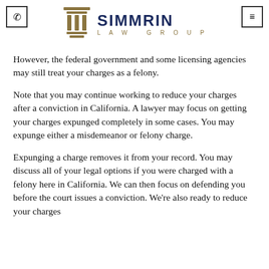Simmrin Law Group
However, the federal government and some licensing agencies may still treat your charges as a felony.
Note that you may continue working to reduce your charges after a conviction in California. A lawyer may focus on getting your charges expunged completely in some cases. You may expunge either a misdemeanor or felony charge.
Expunging a charge removes it from your record. You may discuss all of your legal options if you were charged with a felony here in California. We can then focus on defending you before the court issues a conviction. We're also ready to reduce your charges